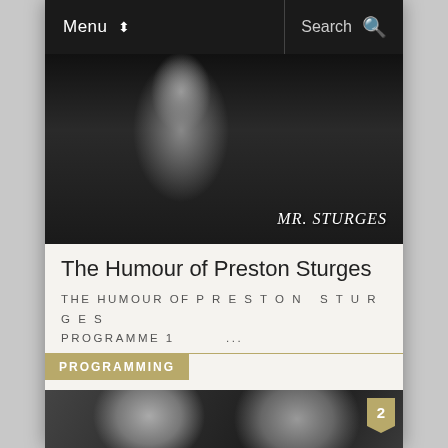Menu | Search
[Figure (photo): Black and white photo of Preston Sturges sitting in a director's chair labeled 'MR. STURGES']
The Humour of Preston Sturges
THE HUMOUR OF P R E S T O N   S T U R G E S PROGRAMME 1        ...
PROGRAMMING
[Figure (photo): Black and white photo of a woman and man (with hat) looking off into the distance, numbered badge '2']